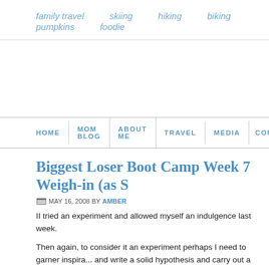family travel   skiing   hiking   biking   pumpkins   foodie
HOME  MOM BLOG  ABOUT ME  TRAVEL  MEDIA  CON...
Biggest Loser Boot Camp Week 7 Weigh-in (as S...
MAY 16, 2008 BY AMBER
II tried an experiment and allowed myself an indulgence last week.
Then again, to consider it an experiment perhaps I need to garner inspira... and write a solid hypothesis and carry out a detailed plan of action.
I suspect my spur-of-the-moment hypothesis, "Those ice cream sundaes...